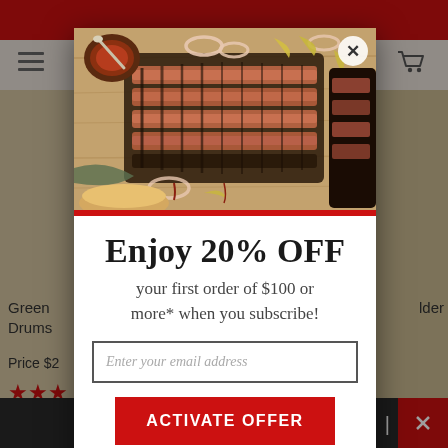[Figure (screenshot): Website background showing red header bar, hamburger menu icon, cart icon, product images on left and right sides, product names and prices partially visible, bottom dark bar with red close button]
[Figure (photo): Modal popup food photo showing sliced BBQ brisket on a wooden cutting board with sauce, onion rings, banana peppers, and bread]
Enjoy 20% OFF
your first order of $100 or more* when you subscribe!
Enter your email address
ACTIVATE OFFER